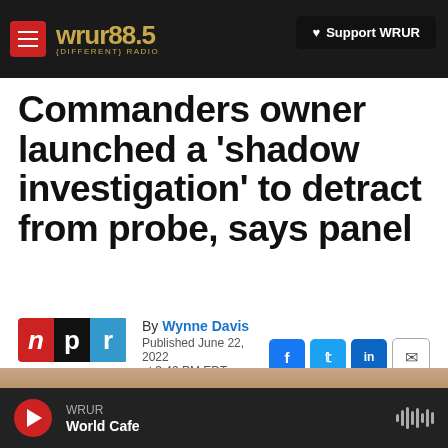WRUR 88.5 {DIFFERENT} RADIO — Support WRUR
Commanders owner launched a 'shadow investigation' to detract from probe, says panel
By Wynne Davis
Published June 22, 2022 at 3:49 PM EDT
WRUR World Cafe